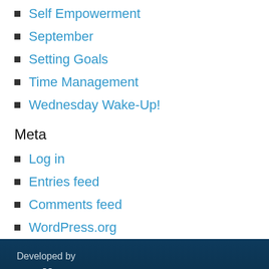Self Empowerment
September
Setting Goals
Time Management
Wednesday Wake-Up!
Meta
Log in
Entries feed
Comments feed
WordPress.org
Developed by
Follow us
Privacy policy
[Figure (logo): Social media icons: Facebook (dark blue circle with f), Instagram (gradient circle with camera icon), LinkedIn (blue circle with in)]